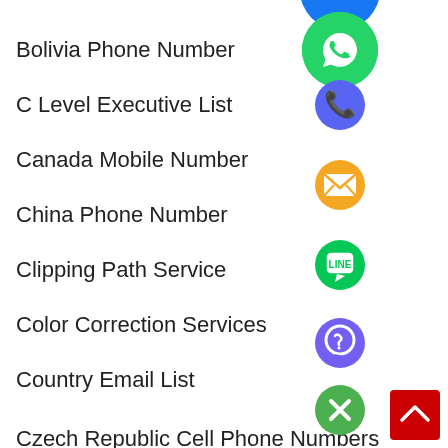Bolivia Phone Number
C Level Executive List
Canada Mobile Number
China Phone Number
Clipping Path Service
Color Correction Services
Country Email List
Czech Republic Cell Phone Numbers
[Figure (infographic): Floating social/contact icons: WhatsApp (green), phone (purple-blue), email (orange), LINE (green), Viber (purple), close/X (green). Positioned overlapping the list items on the right side. Also a red scroll-to-top button with a chevron up arrow at bottom right.]